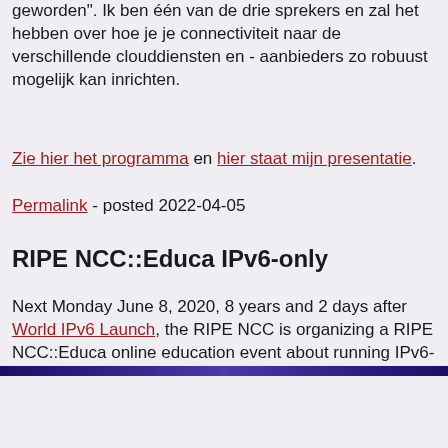geworden". Ik ben één van de drie sprekers en zal het hebben over hoe je je connectiviteit naar de verschillende clouddiensten en - aanbieders zo robuust mogelijk kan inrichten.
Zie hier het programma en hier staat mijn presentatie.
Permalink - posted 2022-04-05
RIPE NCC::Educa IPv6-only
Next Monday June 8, 2020, 8 years and 2 days after World IPv6 Launch, the RIPE NCC is organizing a RIPE NCC::Educa online education event about running IPv6-only.